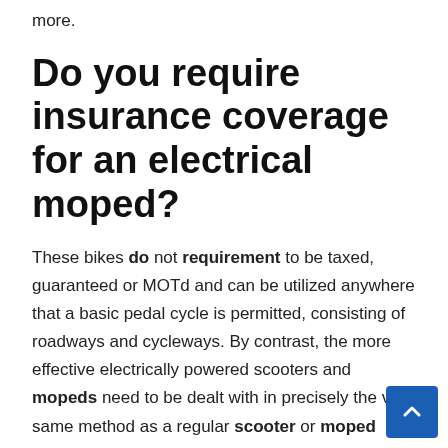more.
Do you require insurance coverage for an electrical moped?
These bikes do not requirement to be taxed, guaranteed or MOTd and can be utilized anywhere that a basic pedal cycle is permitted, consisting of roadways and cycleways. By contrast, the more effective electrically powered scooters and mopeds need to be dealt with in precisely the very same method as a regular scooter or moped